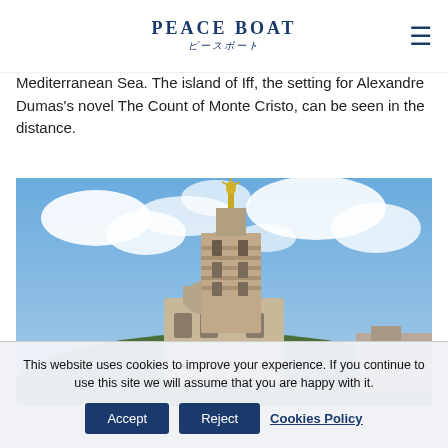PEACE BOAT
Mediterranean Sea. The island of Iff, the setting for Alexandre Dumas's novel The Count of Monte Cristo, can be seen in the distance.
[Figure (photo): Photograph of Notre-Dame de la Garde basilica in Marseille, France, atop a hill with trees, golden statue visible at top of tower, blue sky with clouds]
This website uses cookies to improve your experience. If you continue to use this site we will assume that you are happy with it.